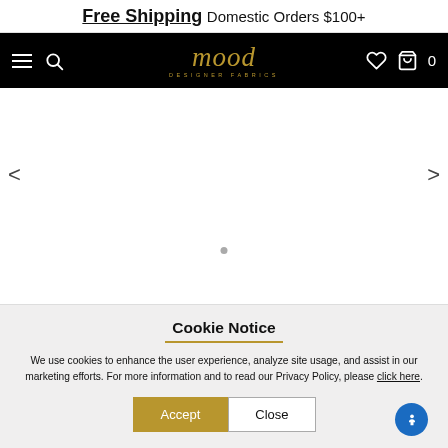Free Shipping Domestic Orders $100+
[Figure (screenshot): Mood Designer Fabrics navigation bar with hamburger menu, search icon, logo, heart icon, and cart icon with 0 items]
[Figure (photo): Product image slideshow area with left and right navigation arrows and a dot indicator]
Cookie Notice
We use cookies to enhance the user experience, analyze site usage, and assist in our marketing efforts. For more information and to read our Privacy Policy, please click here.
Accept  Close